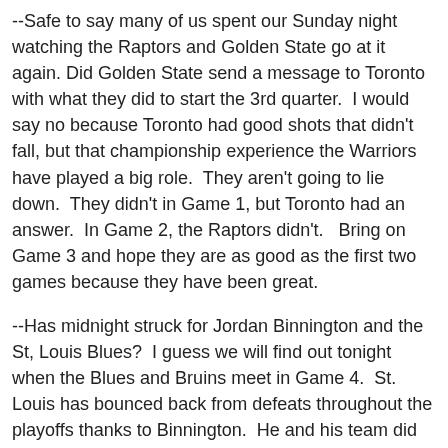--Safe to say many of us spent our Sunday night watching the Raptors and Golden State go at it again. Did Golden State send a message to Toronto with what they did to start the 3rd quarter.  I would say no because Toronto had good shots that didn't fall, but that championship experience the Warriors have played a big role.  They aren't going to lie down.  They didn't in Game 1, but Toronto had an answer.  In Game 2, the Raptors didn't.   Bring on Game 3 and hope they are as good as the first two games because they have been great.
--Has midnight struck for Jordan Binnington and the St, Louis Blues?  I guess we will find out tonight when the Blues and Bruins meet in Game 4.  St. Louis has bounced back from defeats throughout the playoffs thanks to Binnington.  He and his team did not look good in Game 3, but everything resets to zero when the puck drops tonight.
--Tickets for Game 3 of the Cup final were going for $2600.  They were going for a lot more in Toronto for Games 1 and 2 of the NBA Finals.  What would you pay to see your favourite team compete for the championship.  Yes, I know many of